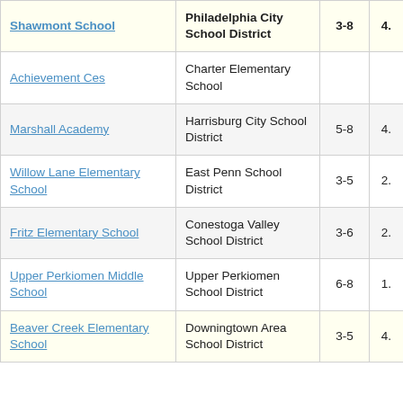| School | District | Grades | Score |
| --- | --- | --- | --- |
| Shawmont School | Philadelphia City School District | 3-8 | 4. |
| Achievement Ces | Charter Elementary School |  |  |
| Marshall Academy | Harrisburg City School District | 5-8 | 4. |
| Willow Lane Elementary School | East Penn School District | 3-5 | 2. |
| Fritz Elementary School | Conestoga Valley School District | 3-6 | 2. |
| Upper Perkiomen Middle School | Upper Perkiomen School District | 6-8 | 1. |
| Beaver Creek Elementary School | Downingtown Area School District | 3-5 | 4. |